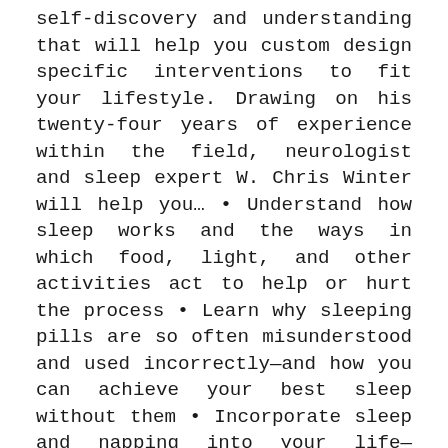self-discovery and understanding that will help you custom design specific interventions to fit your lifestyle. Drawing on his twenty-four years of experience within the field, neurologist and sleep expert W. Chris Winter will help you… • Understand how sleep works and the ways in which food, light, and other activities act to help or hurt the process • Learn why sleeping pills are so often misunderstood and used incorrectly—and how you can achieve your best sleep without them • Incorporate sleep and napping into your life—whether you are a shift worker, student, or overcommitted parent • Think outside the box to better understand ways to treat a multitude of conditions—from insomnia to sleep apnea to restless leg syndrome and circadian sleep disorders • Wade